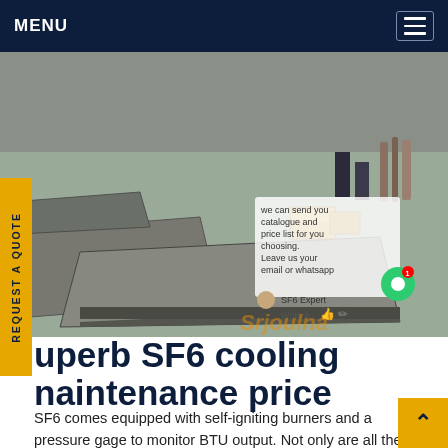MENU
[Figure (photo): Outdoor industrial site photo showing large flat metal plates/slabs on concrete ground, workers visible in background, with cardboard boxes on top of the plates. Chat overlay visible with text about catalogue and price list.]
Superb SF6 cooling maintenance price
SF6 comes equipped with self-igniting burners and a pressure gage to monitor BTU output. Not only are all the component that makes up the SF6 of highest quality, but they are also implemented with